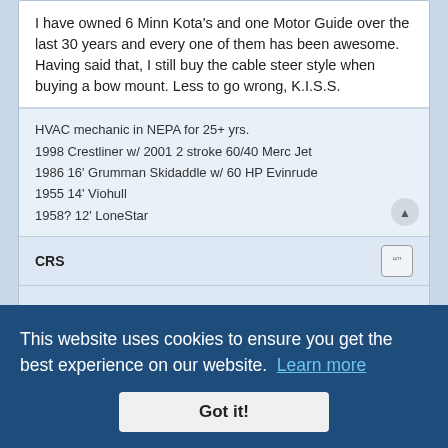I have owned 6 Minn Kota's and one Motor Guide over the last 30 years and every one of them has been awesome. Having said that, I still buy the cable steer style when buying a bow mount. Less to go wrong, K.I.S.S.
HVAC mechanic in NEPA for 25+ yrs.
1998 Crestliner w/ 2001 2 stroke 60/40 Merc Jet
1986 16' Grumman Skidaddle w/ 60 HP Evinrude
1955 14' Viohull
1958? 12' LoneStar
CRS
I think I'm done with Minn Kota
22 Jul 2021, 11:35
China has zero quality control on inspections just make it and ship it. I currently am using 4 Minn Kotas who have replaced the control board on one of them. I do not think changing brands will really make a difference since they are all made at the same place, but what else can you do with such a bad track record.
This website uses cookies to ensure you get the best experience on our website.
Learn more
Got it!